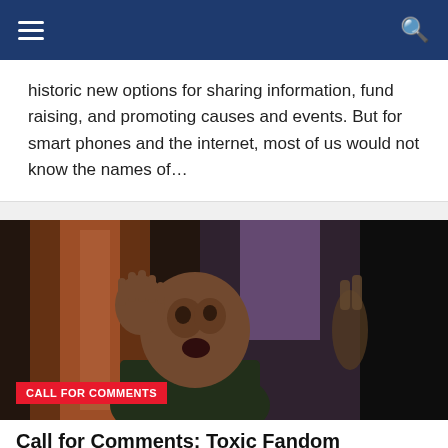Navigation bar with menu and search icons
historic new options for sharing information, fund raising, and promoting causes and events. But for smart phones and the internet, most of us would not know the names of…
[Figure (photo): A movie or TV creature/monster character with a distorted face raising one hand, shown against a dark background. A red label tag 'CALL FOR COMMENTS' is overlaid in the lower left.]
CALL FOR COMMENTS
Call for Comments: Toxic Fandom
by Wayne Wise